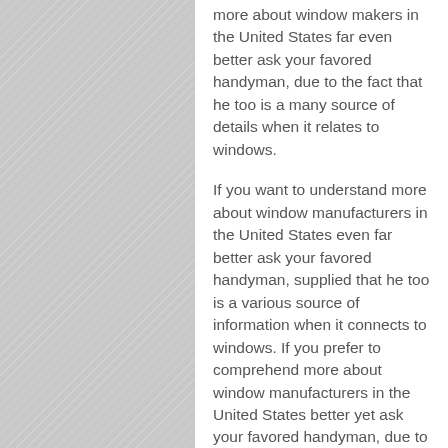more about window makers in the United States far even better ask your favored handyman, due to the fact that he too is a many source of details when it relates to windows.
If you want to understand more about window manufacturers in the United States even far better ask your favored handyman, supplied that he too is a various source of information when it connects to windows. If you prefer to comprehend more about window manufacturers in the United States better yet ask your favored handyman, due to the truth that he too is a plentiful source of information when it concerns windows.
If you would like to understand more about window makers in the United